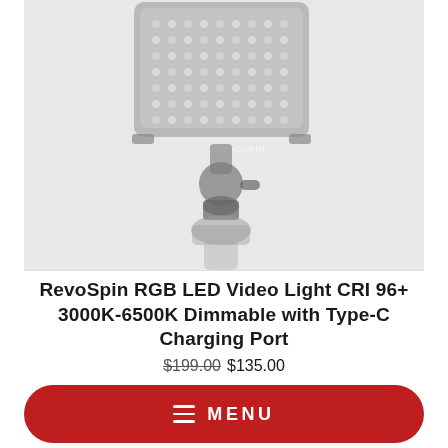[Figure (photo): RevoSpin RGB LED Video Light mounted on a ball head tripod adapter. The light panel shows multiple LED bulbs arranged in a grid pattern, with the REVOSPIN logo visible on the handle. The device is partially blurred/faded. Background is light gray.]
RevoSpin RGB LED Video Light CRI 96+ 3000K-6500K Dimmable with Type-C Charging Port
$199.00  $135.00
≡  MENU